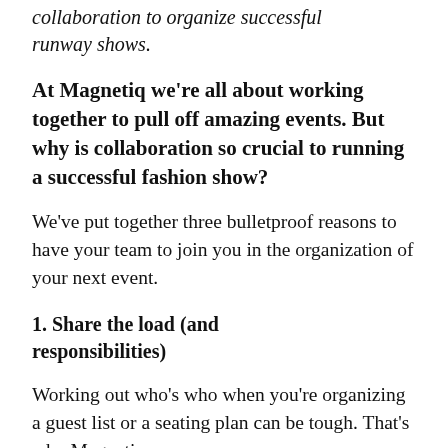collaboration to organize successful runway shows.
At Magnetiq we're all about working together to pull off amazing events. But why is collaboration so crucial to running a successful fashion show?
We've put together three bulletproof reasons to have your team to join you in the organization of your next event.
1. Share the load (and responsibilities)
Working out who's who when you're organizing a guest list or a seating plan can be tough. That's why Magnetiq